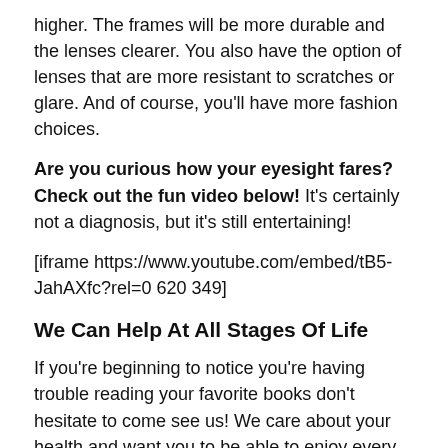higher. The frames will be more durable and the lenses clearer. You also have the option of lenses that are more resistant to scratches or glare. And of course, you'll have more fashion choices.
Are you curious how your eyesight fares? Check out the fun video below! It's certainly not a diagnosis, but it's still entertaining!
[iframe https://www.youtube.com/embed/tB5-JahAXfc?rel=0 620 349]
We Can Help At All Stages Of Life
If you're beginning to notice you're having trouble reading your favorite books don't hesitate to come see us! We care about your health and want you to be able to enjoy every page. Generic reading glasses have their place, but it's best to consult with an optometrist before you decide on any vision